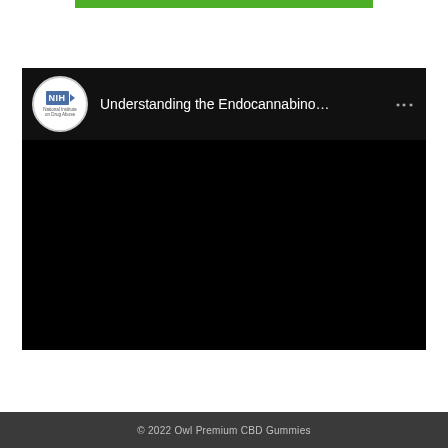[Figure (other): Green horizontal bar at top of page]
[Figure (screenshot): YouTube-style video embed showing NIH National Institute on Drug Abuse channel with video title 'Understanding the Endocannabino...' on a black background with three-dot menu icon]
© 2022 Owl Premium CBD Gummies